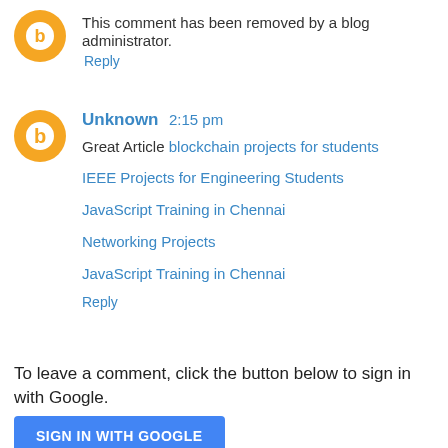This comment has been removed by a blog administrator.
Reply
Unknown 2:15 pm
Great Article blockchain projects for students
IEEE Projects for Engineering Students
JavaScript Training in Chennai
Networking Projects
JavaScript Training in Chennai
Reply
To leave a comment, click the button below to sign in with Google.
SIGN IN WITH GOOGLE